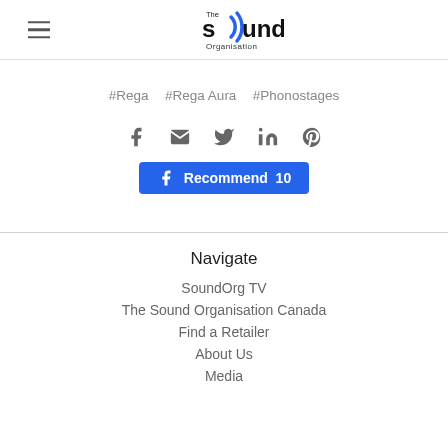The Sound Organisation — header with logo and hamburger menu
#Rega  #Rega Aura  #Phonostages
[Figure (other): Social share icons: Facebook, Email, Twitter, LinkedIn, Pinterest, and a blue Facebook Recommend button with count 10]
Navigate
SoundOrg TV
The Sound Organisation Canada
Find a Retailer
About Us
Media